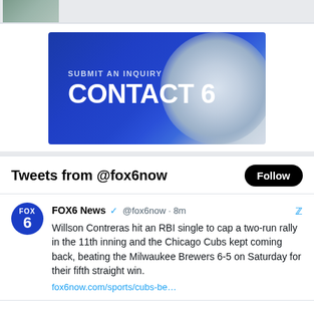[Figure (screenshot): Partial image strip at top of page, cropped thumbnail of a scene]
[Figure (screenshot): Contact 6 banner: blue gradient background with text 'SUBMIT AN INQUIRY' and 'CONTACT 6' in large white bold letters]
Tweets from @fox6now
Follow
FOX6 News @fox6now · 8m
Willson Contreras hit an RBI single to cap a two-run rally in the 11th inning and the Chicago Cubs kept coming back, beating the Milwaukee Brewers 6-5 on Saturday for their fifth straight win.
fox6now.com/sports/cubs-be…